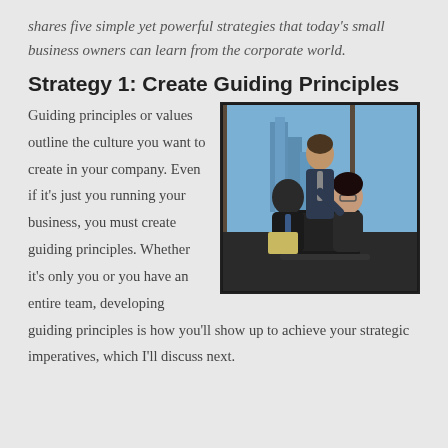shares five simple yet powerful strategies that today's small business owners can learn from the corporate world.
Strategy 1: Create Guiding Principles
[Figure (photo): Three business professionals in a modern office setting reviewing content on a laptop. One man stands behind two seated colleagues — a man and a woman — pointing at the screen. City skyline visible through the window in the background.]
Guiding principles or values outline the culture you want to create in your company. Even if it's just you running your business, you must create guiding principles. Whether it's only you or you have an entire team, developing guiding principles is how you'll show up to achieve your strategic imperatives, which I'll discuss next.